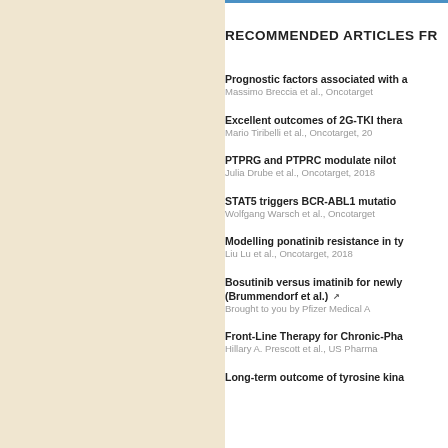RECOMMENDED ARTICLES FR
Prognostic factors associated with a
Massimo Breccia et al., Oncotarget
Excellent outcomes of 2G-TKI thera
Mario Tiribelli et al., Oncotarget, 20
PTPRG and PTPRC modulate nilot
Julia Drube et al., Oncotarget, 2018
STAT5 triggers BCR-ABL1 mutatio
Wolfgang Warsch et al., Oncotarget
Modelling ponatinib resistance in ty
Liu Lu et al., Oncotarget, 2018
Bosutinib versus imatinib for newly (Brummendorf et al.)
Brought to you by Pfizer Medical A
Front-Line Therapy for Chronic-Pha
Hillary A. Prescott et al., US Pharma
Long-term outcome of tyrosine kina